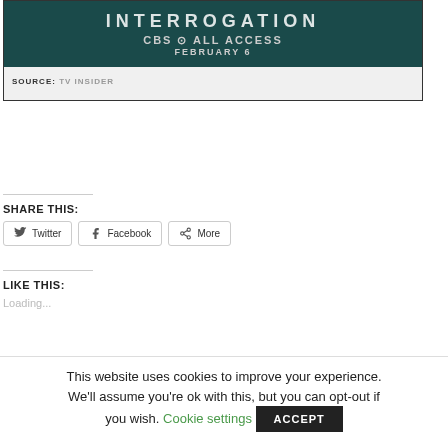[Figure (screenshot): CBS All Access show banner with dark teal background showing 'INTERROGATION' title text, CBS All Access logo, and date 'FEBRUARY 6']
SOURCE: TV INSIDER
SHARE THIS:
Twitter  Facebook  More
LIKE THIS:
Loading...
This website uses cookies to improve your experience. We'll assume you're ok with this, but you can opt-out if you wish. Cookie settings ACCEPT